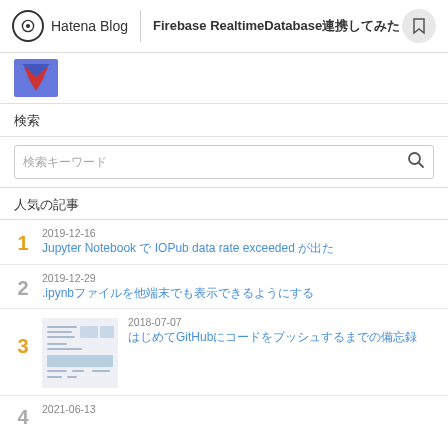Hatena Blog | Firebase RealtimeDatabase連携してみた
[Figure (photo): Avatar image - colorful icon with blue and red]
検索
検索キーワード (search placeholder)
人気の記事
1 2019-12-16 Jupyter Notebook で IOPub data rate exceeded が出た
2 2019-12-29 .ipynbファイルを他端末でも表示できるようにする
3 2018-07-07 はじめてGitHubにコードをプッシュするまでの備忘録
4 2021-06-13